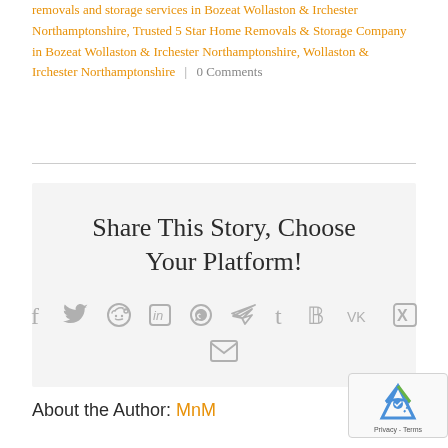removals and storage services in Bozeat Wollaston & Irchester Northamptonshire, Trusted 5 Star Home Removals & Storage Company in Bozeat Wollaston & Irchester Northamptonshire, Wollaston & Irchester Northamptonshire | 0 Comments
Share This Story, Choose Your Platform!
[Figure (infographic): Social media sharing icons: Facebook, Twitter, Reddit, LinkedIn, WhatsApp, Telegram, Tumblr, Pinterest, VK, Xing, Email]
About the Author: MnM